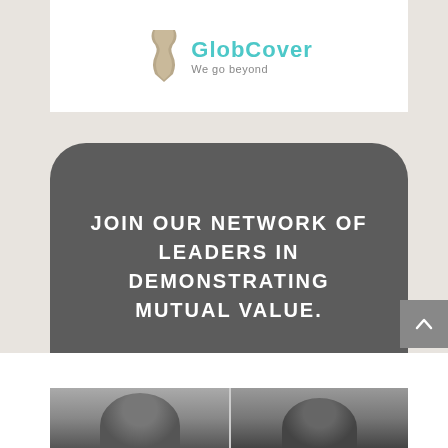[Figure (logo): Company logo with ribbon icon and tagline 'We go beyond' in teal/gray colors on white background]
JOIN OUR NETWORK OF LEADERS IN DEMONSTRATING MUTUAL VALUE.
[Figure (photo): Partial photo of two people at the bottom of the page, partially cropped]